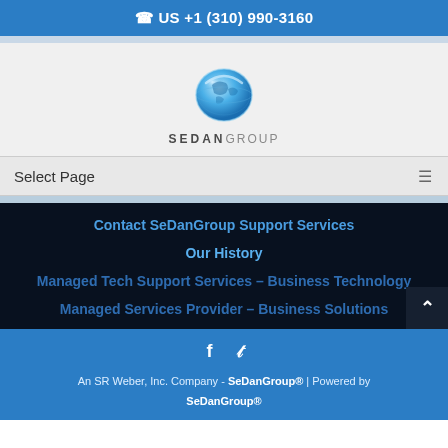US +1 (310) 990-3160
[Figure (logo): SeDanGroup globe logo with blue world icon and SEDANGROUP text below]
Select Page
Contact SeDanGroup Support Services
Our History
Managed Tech Support Services – Business Technology
Managed Services Provider – Business Solutions
An SR Weber, Inc. Company - SeDanGroup® | Powered by SeDanGroup®